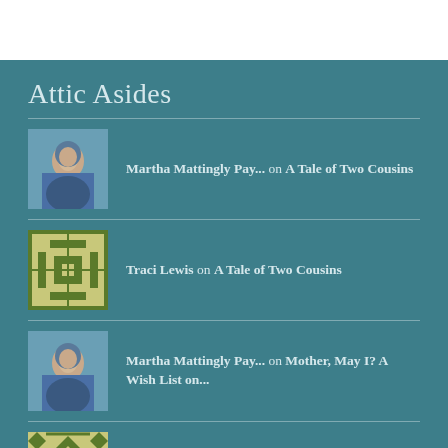Attic Asides
Martha Mattingly Pay... on A Tale of Two Cousins
Traci Lewis on A Tale of Two Cousins
Martha Mattingly Pay... on Mother, May I? A Wish List on...
Ceil on Mother, May I? A Wish List on...
Martha Mattingly Pay... on A Tale of Two Cousins